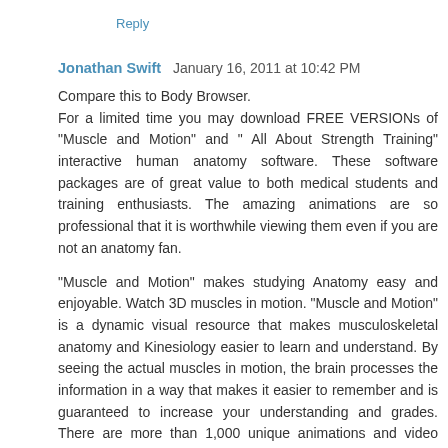Reply
Jonathan Swift  January 16, 2011 at 10:42 PM
Compare this to Body Browser.
For a limited time you may download FREE VERSIONs of "Muscle and Motion" and " All About Strength Training" interactive human anatomy software. These software packages are of great value to both medical students and training enthusiasts. The amazing animations are so professional that it is worthwhile viewing them even if you are not an anatomy fan.
"Muscle and Motion" makes studying Anatomy easy and enjoyable. Watch 3D muscles in motion. "Muscle and Motion" is a dynamic visual resource that makes musculoskeletal anatomy and Kinesiology easier to learn and understand. By seeing the actual muscles in motion, the brain processes the information in a way that makes it easier to remember and is guaranteed to increase your understanding and grades. There are more than 1,000 unique animations and video clips of the muscular system.